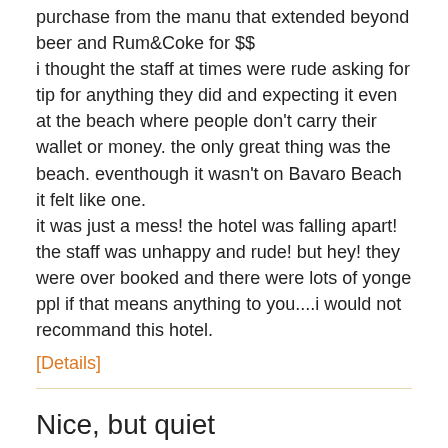purchase from the manu that extended beyond beer and Rum&Coke for $$
i thought the staff at times were rude asking for tip for anything they did and expecting it even at the beach where people don't carry their wallet or money. the only great thing was the beach. eventhough it wasn't on Bavaro Beach it felt like one.
it was just a mess! the hotel was falling apart! the staff was unhappy and rude! but hey! they were over booked and there were lots of yonge ppl if that means anything to you....i would not recommand this hotel.
[Details]
Nice, but quiet
[Figure (illustration): 4 orange butterfly icons and 1 grey butterfly icon representing a rating of 4 out of 5]
Pauly D., Vaughan, ON
2013-02-21
Very good place. Clean, good food, nice beach. Can get quiet at night, more activities after dinner would help.